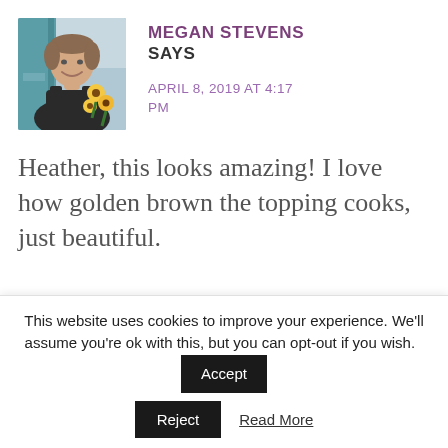[Figure (photo): Profile photo of a smiling woman with short hair holding yellow sunflowers, wearing a black sleeveless top, standing in front of a teal door.]
MEGAN STEVENS SAYS
APRIL 8, 2019 AT 4:17 PM
Heather, this looks amazing! I love how golden brown the topping cooks, just beautiful.
REPLY
This website uses cookies to improve your experience. We'll assume you're ok with this, but you can opt-out if you wish.
Accept
Reject
Read More